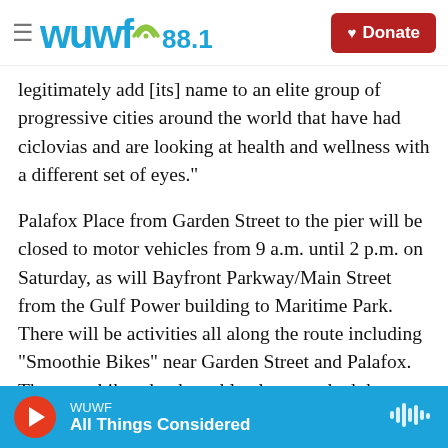WUWF 88.1 | Donate
legitimately add [its] name to an elite group of progressive cities around the world that have had ciclovias and are looking at health and wellness with a different set of eyes."
Palafox Place from Garden Street to the pier will be closed to motor vehicles from 9 a.m. until 2 p.m. on Saturday, as will Bayfront Parkway/Main Street from the Gulf Power building to Maritime Park. There will be activities all along the route including "Smoothie Bikes" near Garden Street and Palafox. These are bikes that have blenders attached that are operated by pedal power. Food trucks will also
WUWF | All Things Considered